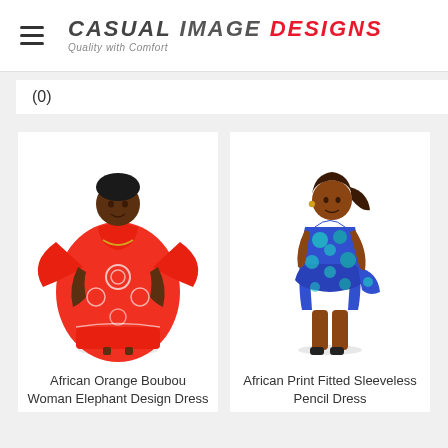CASUAL IMAGE DESIGNS Quality with Comfort
(0)
[Figure (photo): Woman wearing a red/orange African Boubou kaftan dress with elephant design embroidery, standing against white background]
African Orange Boubou Woman Elephant Design Dress
[Figure (photo): Woman wearing a blue African print fitted sleeveless pencil dress with teal floral pattern and peplum detail, standing against white background]
African Print Fitted Sleeveless Pencil Dress